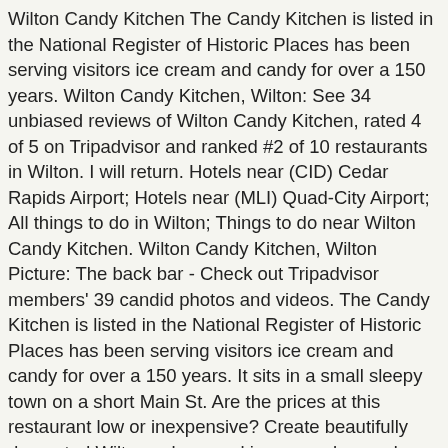Wilton Candy Kitchen The Candy Kitchen is listed in the National Register of Historic Places has been serving visitors ice cream and candy for over a 150 years. Wilton Candy Kitchen, Wilton: See 34 unbiased reviews of Wilton Candy Kitchen, rated 4 of 5 on Tripadvisor and ranked #2 of 10 restaurants in Wilton. I will return. Hotels near (CID) Cedar Rapids Airport; Hotels near (MLI) Quad-City Airport; All things to do in Wilton; Things to do near Wilton Candy Kitchen. Wilton Candy Kitchen, Wilton Picture: The back bar - Check out Tripadvisor members' 39 candid photos and videos. The Candy Kitchen is listed in the National Register of Historic Places has been serving visitors ice cream and candy for over a 150 years. It sits in a small sleepy town on a short Main St. Are the prices at this restaurant low or inexpensive? Create beautifully decorated Wilton cakes, cookies, cupcakes and candy with unique ideas, supplies and step-by-step instructions. 5.2K likes. Enjoy the ice cream bar. If you are a resident of another country or region, please select the appropriate version of Tripadvisor for your country or region in the drop-down menu. It's not that far off the Interstate, 6 miles, I think. - See 34 traveller reviews, 17 candid photos, and great deals for Wilton, IA, at Tripadvisor. Highly recommended for all. The owner/operators are extremely friendly, quick to answer questions, and swiftly serve your order. The shop owner is a very nice guy as well. We didn't get to sit at the counter because it was full, but the last the counter area. There offer continues as a famous landmark and ...